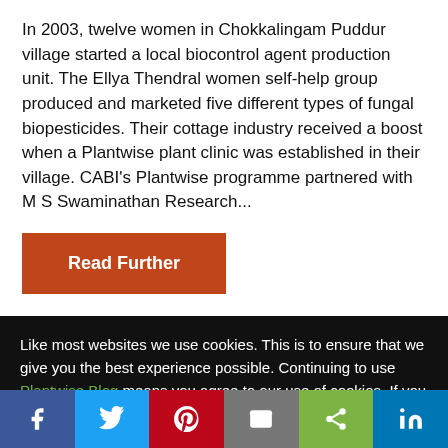In 2003, twelve women in Chokkalingam Puddur village started a local biocontrol agent production unit. The Ellya Thendral women self-help group produced and marketed five different types of fungal biopesticides. Their cottage industry received a boost when a Plantwise plant clinic was established in their village. CABI's Plantwise programme partnered with M S Swaminathan Research...
Read Further
Like most websites we use cookies. This is to ensure that we give you the best experience possible. Continuing to use Plantwise Blog means you agree to our use of cookies. If you would like to, you can learn more about the cookies we use here.
Facebook | Twitter | Pinterest | Email | Share | LinkedIn